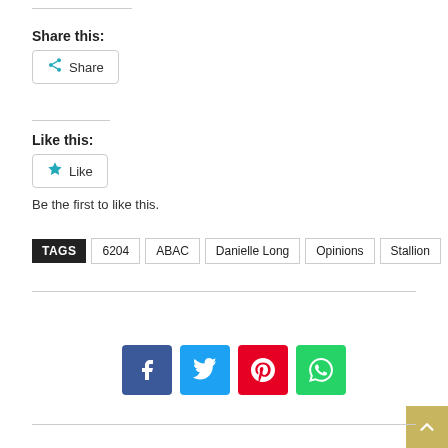Share this:
Share
Like this:
Like
Be the first to like this.
TAGS 6204 ABAC Danielle Long Opinions Stallion
[Figure (other): Social share buttons: Facebook, Twitter, Pinterest, WhatsApp]
[Figure (other): Back to top button with upward chevron]